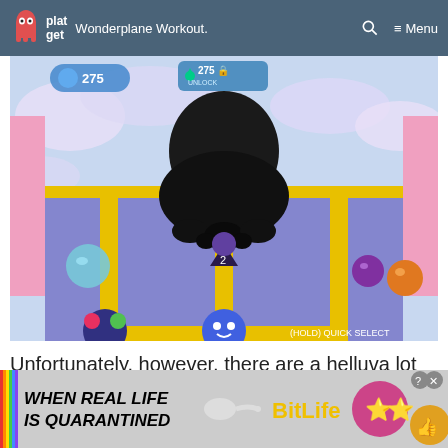platget — Wonderplane Workout. Menu
[Figure (screenshot): Screenshot from a colorful video game showing a dark creature/obstacle on a pastel cloud-themed level with yellow rails, balls, and player characters. HUD shows 275 coins and an UNLOCK prompt. Bottom right shows '(HOLD) QUICK SELECT' button prompt.]
Unfortunately, however, there are a helluva lot of multiplayer trophies. You don't necessarily need a
[Figure (other): Advertisement banner for BitLife game: 'WHEN REAL LIFE IS QUARANTINED' text with sperm graphic and star-eyes emoji character. Rainbow bar on left side. Close (X) and question mark buttons.]